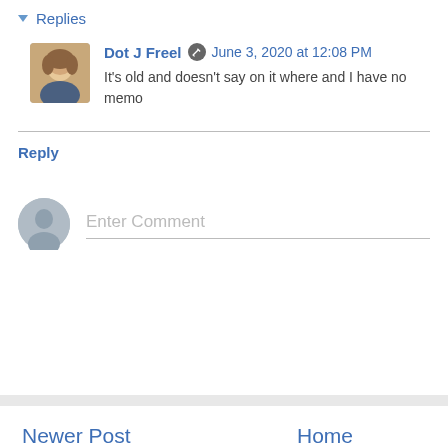Replies
Dot J Freel   June 3, 2020 at 12:08 PM
It's old and doesn't say on it where and I have no memo
Reply
Enter Comment
Newer Post
Home
Subscribe to: Post Comments (Atom)